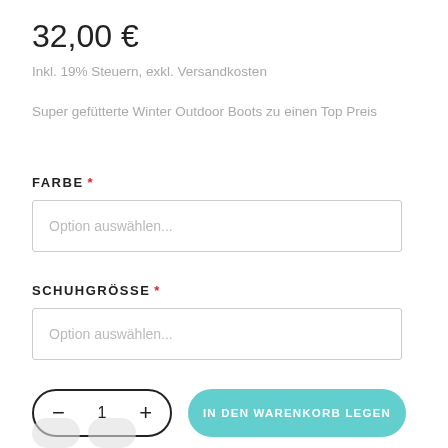32,00 €
Inkl. 19% Steuern, exkl. Versandkosten
Super gefütterte Winter Outdoor Boots zu einen Top Preis
FARBE *
Option auswählen...
SCHUHGRÖSSE *
Option auswählen...
- 1 +
IN DEN WARENKORB LEGEN